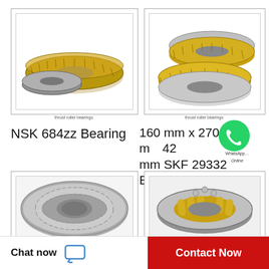[Figure (photo): Thrust roller bearing product image, top-left, showing two ring-shaped thrust bearings with gold/bronze cage]
thrust roller bearings
[Figure (photo): Thrust roller bearing product image, top-right, showing two ring-shaped thrust bearings with gold cage from angled view]
thrust roller bearings
NSK 684zz Bearing
160 mm x 270 m... 42 mm SKF 29332 E Thrust...
[Figure (illustration): WhatsApp icon overlay with text 'WhatsApp... Online']
[Figure (photo): Bottom-left bearing product image showing large thrust roller bearing from top view]
[Figure (photo): Bottom-right bearing product image showing spherical thrust roller bearing from angled view]
Chat now
Contact Now